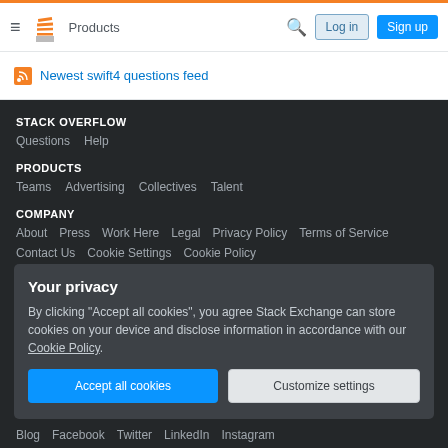≡  Products  🔍  Log in  Sign up
Newest swift4 questions feed
STACK OVERFLOW
Questions   Help
PRODUCTS
Teams   Advertising   Collectives   Talent
COMPANY
About   Press   Work Here   Legal   Privacy Policy   Terms of Service
Contact Us   Cookie Settings   Cookie Policy
Your privacy
By clicking "Accept all cookies", you agree Stack Exchange can store cookies on your device and disclose information in accordance with our Cookie Policy.
Accept all cookies   Customize settings
Blog   Facebook   Twitter   LinkedIn   Instagram